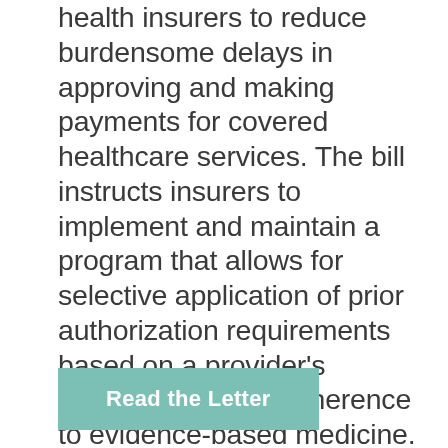health insurers to reduce burdensome delays in approving and making payments for covered healthcare services. The bill instructs insurers to implement and maintain a program that allows for selective application of prior authorization requirements based on a provider's performance and adherence to evidence-based medicine. LOS and ASCO submitted a joint letter in support of the legislation to members of the House of Representatives. The bill now heads to Governor Edwards for approval.
Read the Letter